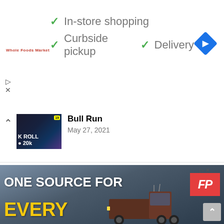[Figure (screenshot): Ad banner: Whole Foods Market with green checkmarks for In-store shopping, Curbside pickup, Delivery, and a blue Google Maps diamond icon]
✓ In-store shopping
✓ Curbside pickup  ✓ Delivery
[Figure (screenshot): YouTube thumbnail for Bull Run video - dark background with crypto imagery, text K ROLL, D 20k]
Bull Run
May 27, 2021
[Figure (screenshot): YouTube thumbnail for CRYPTO Exchanges Are STRUGGLING - dark background with CRYPTO IS STRUGGLING text in yellow]
CRYPTO Exchanges Are STRUGGLING (Why BITCOIN Is Still The Wild West)
July 5, 2022
[Figure (screenshot): Ad banner: ONE SOURCE FOR EVERY with FP red logo badge and truck image on cloudy background]